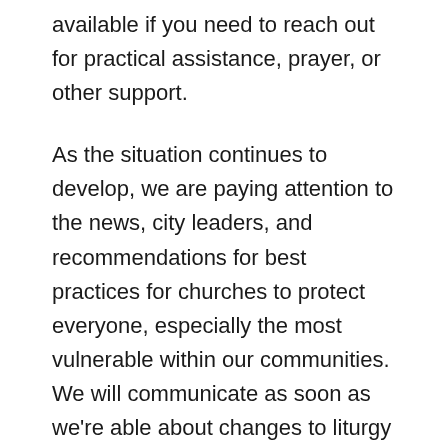available if you need to reach out for practical assistance, prayer, or other support.
As the situation continues to develop, we are paying attention to the news, city leaders, and recommendations for best practices for churches to protect everyone, especially the most vulnerable within our communities. We will communicate as soon as we're able about changes to liturgy or other gatherings.
Taking this into consideration, we are making changes in order to help minimize the chance of spreading COVID-19 as well as other viruses. We ask for your help and cooperation as this is an evolving situation.